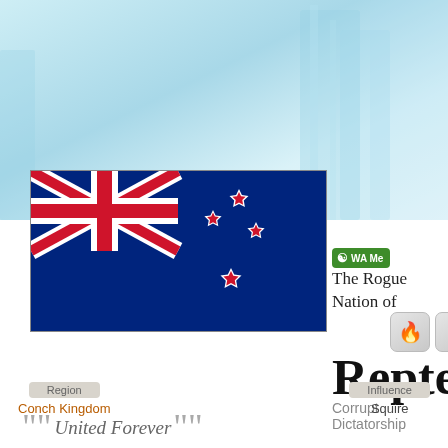[Figure (illustration): Background header with light blue/teal gradient and architectural building silhouettes]
[Figure (photo): New Zealand flag: dark blue background with Union Jack in top-left corner and four red stars with white borders on right side representing the Southern Cross]
[Figure (illustration): Green WA Member badge with olive branch icon and text 'WA Me']
The Rogue Nation of
[Figure (illustration): Two achievement badge icons: a campfire icon and a medal/ribbon icon, both on grey rounded square backgrounds]
Reptenia
Corrupt Dictatorship
““United Forever””
| Region | Influence |
| --- | --- |
| Conch Kingdom | Squire |